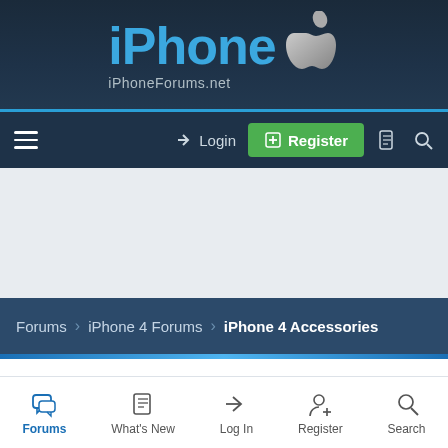[Figure (logo): iPhoneForums.net logo with Apple icon on dark navy background]
Menu | Login | Register | iPhoneForums.net navigation bar
[Figure (other): Advertisement area - light gray placeholder]
Forums > iPhone 4 Forums > iPhone 4 Accessories
Crystal case/ bumper
cityboy709 · Nov 6, 2011
Forums | What's New | Log In | Register | Search